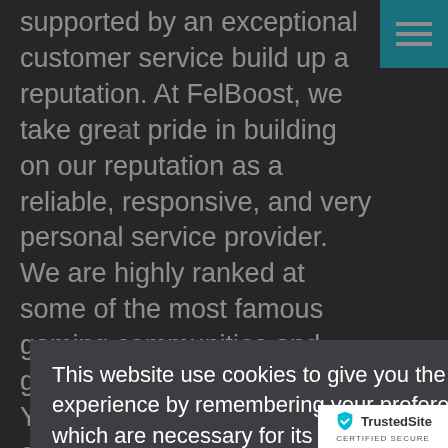supported by an exceptional customer service build up a reputation. At FelBoost, we take great pride in building on our reputation as a reliable, responsive, and very personal service provider. We are highly ranked at some of the most famous gaming communities and game advertising forums. You can check our reviews on
t.
us. It's why of customer y and privacy, f protecting the . Certified ata exchanged between our customers and FelBoost. W
[Figure (infographic): Cookie consent modal overlay with dark semi-transparent background. Modal contains cookie notice text, Privacy Policy link, and three buttons: Settings, Accept, Decline.]
[Figure (logo): TrustedSite Certified Secure badge in bottom-right corner, white background with teal checkmark shield icon and TrustedSite text.]